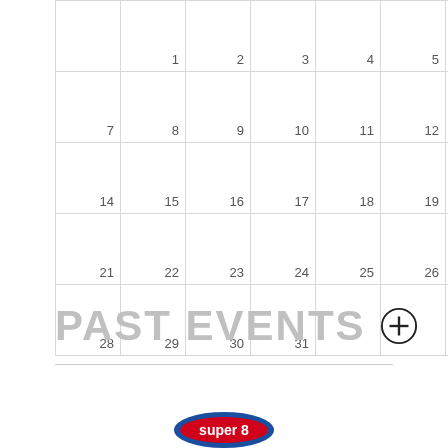|  | 1 | 2 | 3 | 4 | 5 | 6 |
| 7 | 8 | 9 | 10 | 11 | 12 | 13 |
| 14 | 15 | 16 | 17 | 18 | 19 | 20 |
| 21 | 22 | 23 | 24 | 25 | 26 | 27 |
| 28 | 29 | 30 | 31 |  |  |  |
PAST EVENTS
[Figure (logo): Super 8 logo (partial, bottom of page)]